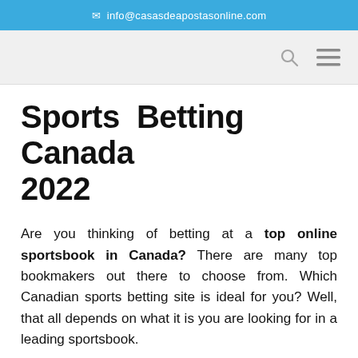✉ info@casasdeapostasonline.com
Sports Betting Canada 2022
Are you thinking of betting at a top online sportsbook in Canada? There are many top bookmakers out there to choose from. Which Canadian sports betting site is ideal for you? Well, that all depends on what it is you are looking for in a leading sportsbook.